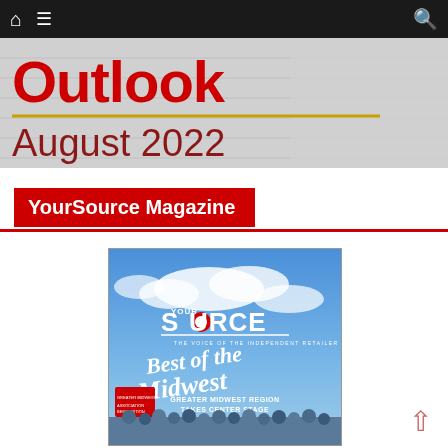Navigation bar with home, menu, and search icons
[Figure (photo): Partial magazine/website banner showing 'Outlook' in red text and 'August 2022' in dark red below a gold horizontal line, on a light grey textured background]
YourSource Magazine
[Figure (photo): Magazine cover for YourSource magazine - 'The Voice of the Independent Retailer' - featuring 'Best of the Midwest' in white script lettering on a blue sky background, with text 'GREATER MIDWEST REGION TAKES CENTER STAGE' and a group photo of people at the bottom]